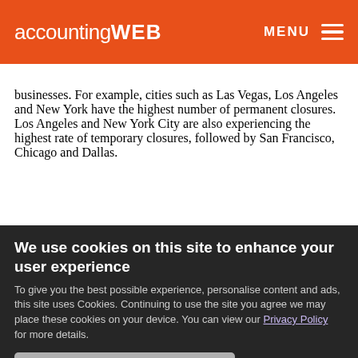accountingWEB   MENU
businesses. For example, cities such as Las Vegas, Los Angeles and New York have the highest number of permanent closures. Los Angeles and New York City are also experiencing the highest rate of temporary closures, followed by San Francisco, Chicago and Dallas.
We use cookies on this site to enhance your user experience
To give you the best possible experience, personalise content and ads, this site uses Cookies. Continuing to use the site you agree we may place these cookies on your device. You can view our Privacy Policy for more details.
No, give me more info
OK, I agree